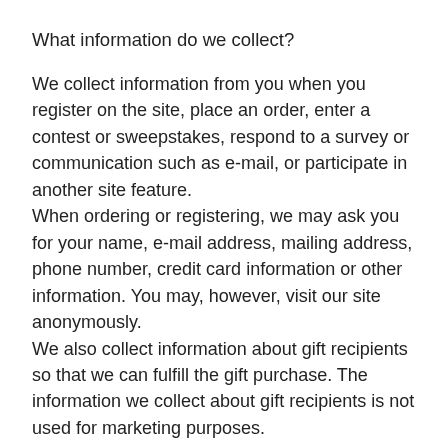What information do we collect?
We collect information from you when you register on the site, place an order, enter a contest or sweepstakes, respond to a survey or communication such as e-mail, or participate in another site feature.
When ordering or registering, we may ask you for your name, e-mail address, mailing address, phone number, credit card information or other information. You may, however, visit our site anonymously.
We also collect information about gift recipients so that we can fulfill the gift purchase. The information we collect about gift recipients is not used for marketing purposes.
Like many websites, we use "cookies" to enhance your experience and gather information about visitors and visits to our websites. Please refer to the "Do we use 'cookies'?" section below for information about cookies and how we use them.